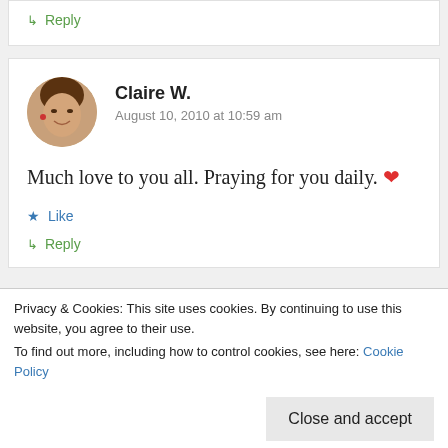↳ Reply
Claire W.
August 10, 2010 at 10:59 am
Much love to you all. Praying for you daily. ❤
★ Like
↳ Reply
Privacy & Cookies: This site uses cookies. By continuing to use this website, you agree to their use.
To find out more, including how to control cookies, see here: Cookie Policy
Close and accept
time. Just thinking about it makes me nauseous.